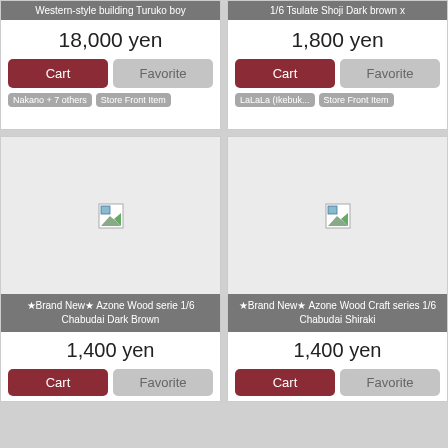Western-style building Turuko boy
1/6 Tsulate Shoji Dark brown x
18,000 yen
1,800 yen
Cart
Favorite
Cart
Favorite
Nakano + 7 others
Store Front Item
LaLaLa (Ikebuk...
Store Front Item
[Figure (screenshot): Product image placeholder - broken image icon]
[Figure (screenshot): Product image placeholder - broken image icon]
★Brand New★ Azone Wood serie 1/6 Chabudai Dark Brown
★Brand New★ Azone Wood Craft series 1/6 Chabudai Shiraki
1,400 yen
1,400 yen